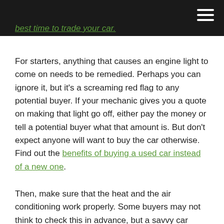best time to trade your car.
For starters, anything that causes an engine light to come on needs to be remedied. Perhaps you can ignore it, but it’s a screaming red flag to any potential buyer. If your mechanic gives you a quote on making that light go off, either pay the money or tell a potential buyer what that amount is. But don’t expect anyone will want to buy the car otherwise. Find out the benefits of buying a used car instead of a new one.
Then, make sure that the heat and the air conditioning work properly. Some buyers may not think to check this in advance, but a savvy car buyer will pick up on this if it isn’t working. And if a door won’t open or a window doesn’t work, that needs to be fixed, too.